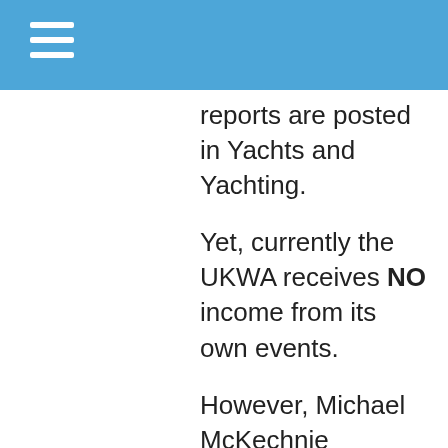reports are posted in Yachts and Yachting.
Yet, currently the UKWA receives NO income from its own events.
However, Michael McKechnie indicated at the AGM we are prepared to have another look at the issue of the levy, and we accept that our communication with the host clubs has not been good on this occasion. As usual it's more a case of a cock-up rather than a